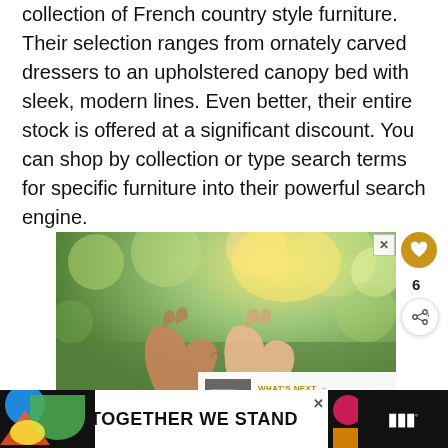collection of French country style furniture. Their selection ranges from ornately carved dressers to an upholstered canopy bed with sleek, modern lines. Even better, their entire stock is offered at a significant discount. You can shop by collection or type search terms for specific furniture into their powerful search engine.
[Figure (photo): Two hands forming a heart shape against a blurred green outdoor background with sunlight]
[Figure (photo): Small thumbnail image for 'Where to Buy Weighted...' what's next section]
[Figure (infographic): Advertisement banner: TOGETHER WE STAND text on white background with colorful shapes on dark background]